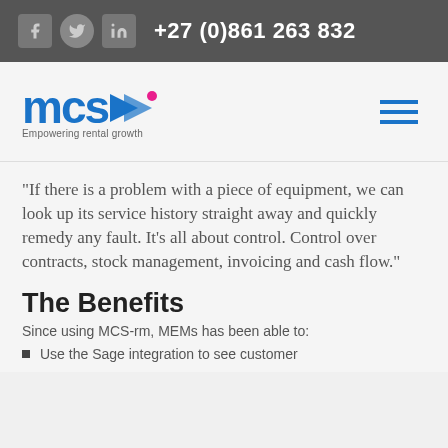+27 (0)861 263 832
[Figure (logo): MCS logo with arrow icon and tagline 'Empowering rental growth']
“If there is a problem with a piece of equipment, we can look up its service history straight away and quickly remedy any fault. It’s all about control. Control over contracts, stock management, invoicing and cash flow.”
The Benefits
Since using MCS-rm, MEMs has been able to:
Use the Sage integration to see customer